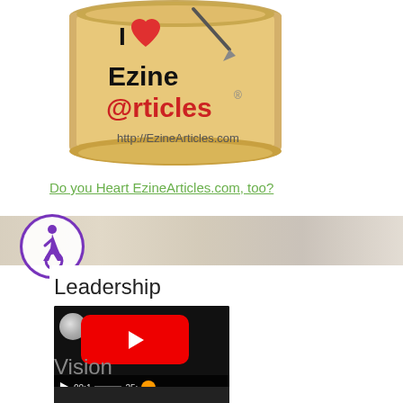[Figure (logo): I Heart EzineArticles logo on a parchment scroll with pen, text 'I [heart] Ezine @rticles http://EzineArticles.com']
Do you Heart EzineArticles.com, too?
[Figure (illustration): Accessibility icon — person in wheelchair inside purple circle]
Leadership
[Figure (screenshot): YouTube video player thumbnail showing red play button and progress bar with time 00:1 and 25:]
Vision
[Figure (screenshot): Partial video thumbnail at bottom of page]